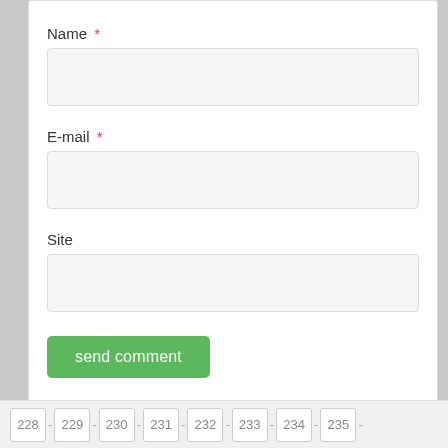Name *
E-mail *
Site
send comment
228 - 229 - 230 - 231 - 232 - 233 - 234 - 235 -